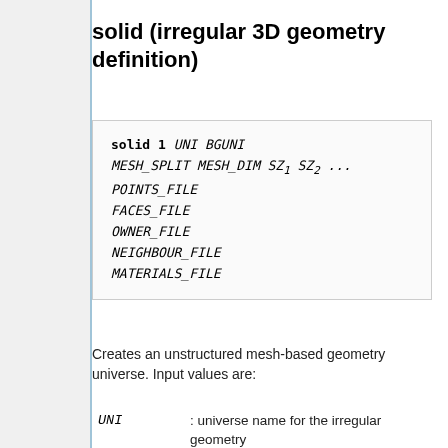solid (irregular 3D geometry definition)
solid 1 UNI BGUNI
MESH_SPLIT MESH_DIM SZ1 SZ2 ...
POINTS_FILE
FACES_FILE
OWNER_FILE
NEIGHBOUR_FILE
MATERIALS_FILE
Creates an unstructured mesh-based geometry universe. Input values are:
| UNI | : universe name for the irregular geometry |
| BGUNI | : name of the background universe filling all |